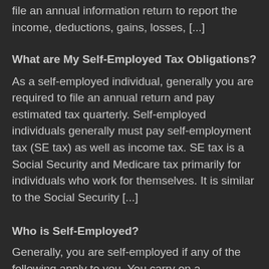file an annual information return to report the income, deductions, gains, losses, [...]
What are My Self-Employed Tax Obligations?
As a self-employed individual, generally you are required to file an annual return and pay estimated tax quarterly. Self-employed individuals generally must pay self-employment tax (SE tax) as well as income tax. SE tax is a Social Security and Medicare tax primarily for individuals who work for themselves. It is similar to the Social Security [...]
Who is Self-Employed?
Generally, you are self-employed if any of the following apply to you. You carry on a